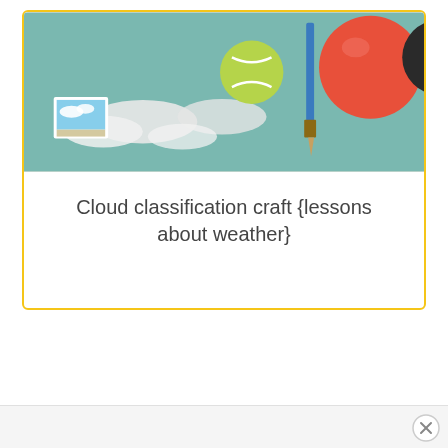[Figure (photo): Photo of craft supplies on a table including a tennis ball, red sphere/ball, blue paintbrush, small photograph/card with sky scene, scattered cotton balls or white material on a blue-green surface]
Cloud classification craft {lessons about weather}